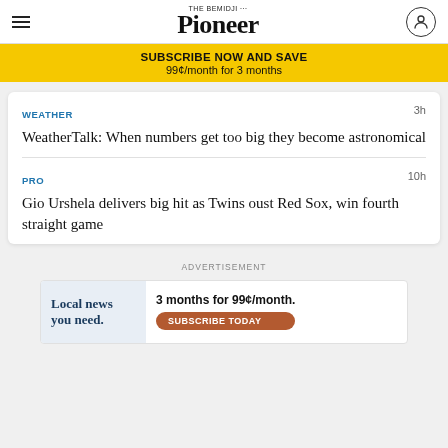The Bemidji Pioneer
SUBSCRIBE NOW AND SAVE
99¢/month for 3 months
WEATHER
3h
WeatherTalk: When numbers get too big they become astronomical
PRO
10h
Gio Urshela delivers big hit as Twins oust Red Sox, win fourth straight game
ADVERTISEMENT
[Figure (other): Advertisement banner: 'Local news you need. 3 months for 99¢/month. SUBSCRIBE TODAY']